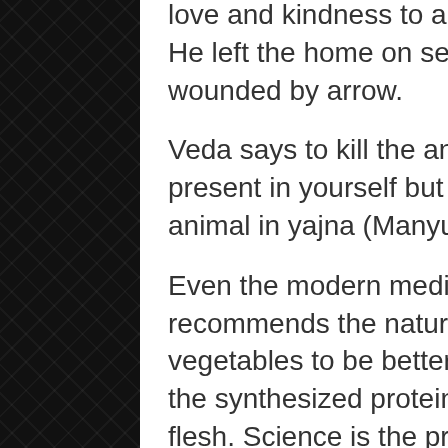love and kindness to animals and birds. He left the home on seeing a bird wounded by arrow.
Veda says to kill the animal nature present in yourself but not the actual animal in yajna (Manyuh pashuh…).
Even the modern medical education recommends the natural proteins in vegetables to be better for health than the synthesized proteins in the animal flesh. Science is the principle of nature, which indicates the will of God because nature is creation of God only.
Hindu Manusmruti says that the greatest justice is not to kill any living being (Ahimsaa paramodharmah…).